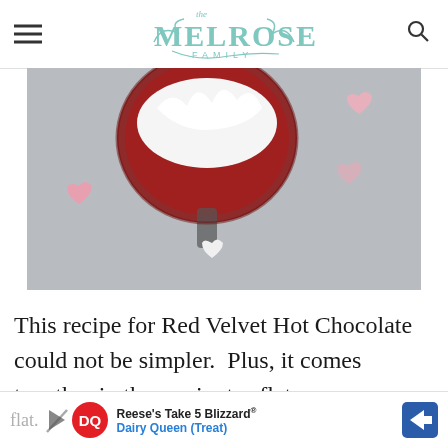The Melrose Family
[Figure (photo): Overhead view of a dark red mug filled with hot chocolate and whipped cream, surrounded by pink and white heart-shaped marshmallows on a grey surface.]
This recipe for Red Velvet Hot Chocolate could not be simpler.  Plus, it comes together in three minutes flat.
[Figure (other): Advertisement banner for Reese's Take 5 Blizzard at Dairy Queen (Treat) with DQ logo and navigation arrow.]